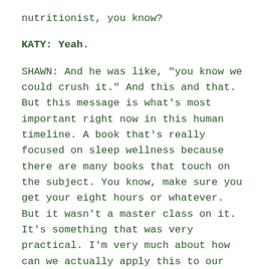nutritionist, you know?
KATY: Yeah.
SHAWN: And he was like, "you know we could crush it." And this and that. But this message is what's most important right now in this human timeline. A book that's really focused on sleep wellness because there are many books that touch on the subject. You know, make sure you get your eight hours or whatever. But it wasn't a master class on it. It's something that was very practical. I'm very much about how can we actually apply this to our lives. I'm a big student of - I like to know a lot of stuff for sure.